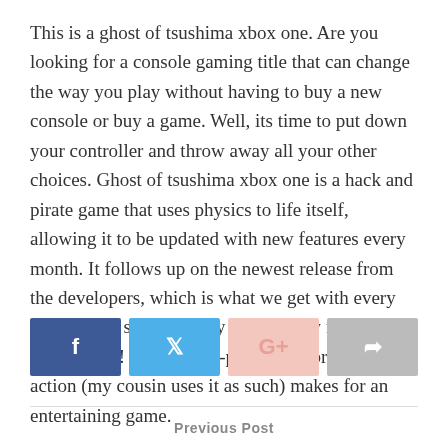This is a ghost of tsushima xbox one. Are you looking for a console gaming title that can change the way you play without having to buy a new console or buy a game. Well, its time to put down your controller and throw away all your other choices. Ghost of tsushima xbox one is a hack and pirate game that uses physics to life itself, allowing it to be updated with new features every month. It follows up on the newest release from the developers, which is what we get with every game in the series. I'd say this was my favorite game so far! It's fun, fast-paced, and brawler like action (my cousin uses it as such) makes for an entertaining game.
[Figure (other): Social sharing buttons: Facebook (blue), Twitter (light blue), Google+ (light pink/salmon), Share (gray)]
Previous Post